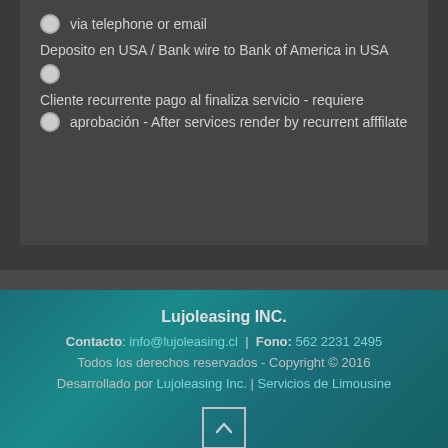via telephone or email
Deposito en USA / Bank wire to Bank of America in USA
Cliente recurrente pago al finaliza servicio - requiere
aprobación - After services render by recurrent afffilate
Lujoleasing INC.
Contacto: info@lujoleasing.cl | Fono: 562 2231 2495
Todos los derechos reservados - Copyright © 2016
Desarrollado por Lujoleasing Inc. | Servicios de Limousine